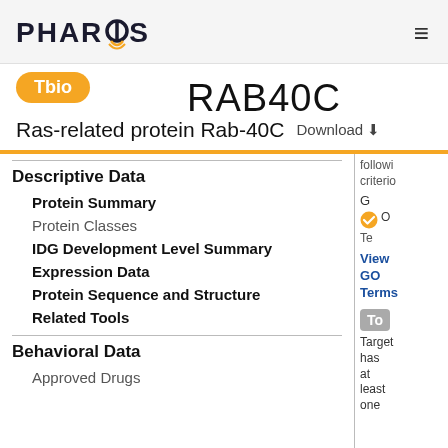PHAROS
RAB40C
Tbio
Ras-related protein Rab-40C   Download
Descriptive Data
Protein Summary
Protein Classes
IDG Development Level Summary
Expression Data
Protein Sequence and Structure
Related Tools
Behavioral Data
Approved Drugs
following criteria
G
O
Te
View GO Terms
To
Target has at least one